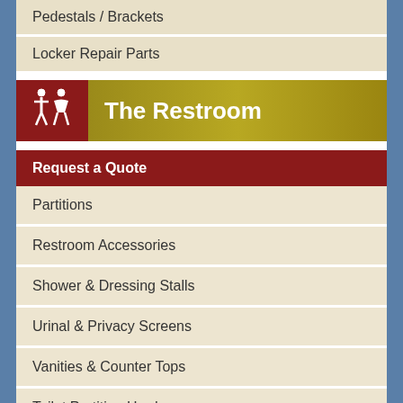Pedestals / Brackets
Locker Repair Parts
The Restroom
Request a Quote
Partitions
Restroom Accessories
Shower & Dressing Stalls
Urinal & Privacy Screens
Vanities & Counter Tops
Toilet Partition Hardware
The Warehouse